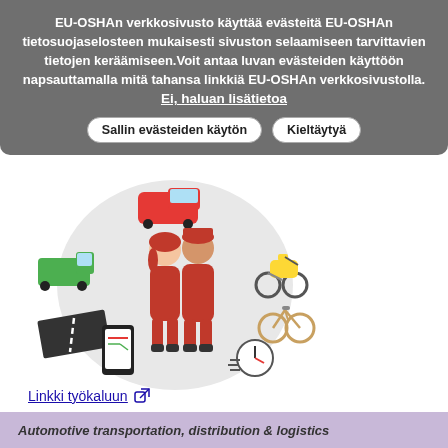EU-OSHAn verkkosivusto käyttää evästeitä EU-OSHAn tietosuojaselosteen mukaisesti sivuston selaamiseen tarvittavien tietojen keräämiseen. Voit antaa luvan evästeiden käyttöön napsauttamalla mitä tahansa linkkiä EU-OSHAn verkkosivustolla.
Ei, haluan lisätietoa
Sallin evästeiden käytön
Kieltäytyä
[Figure (illustration): Illustration of two delivery/courier workers in red uniforms surrounded by various transportation vehicles and items: a van, a green truck, a yellow scooter, a bicycle, a smartphone with a map, a road, and a clock/time icon.]
Linkki työkaluun
Automotive transportation, distribution & logistics